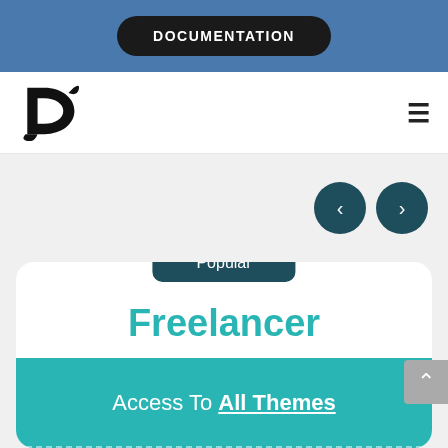DOCUMENTATION
[Figure (logo): Stylized 'D' logo in black]
Popular
Freelancer
$29/month
Access To All Themes